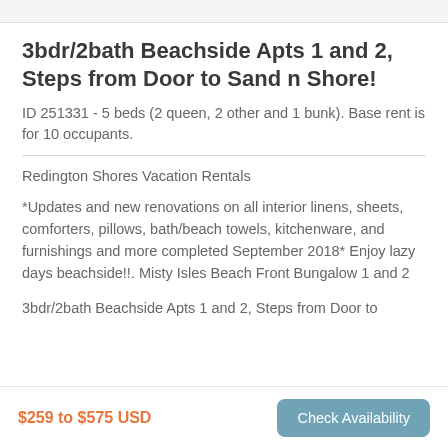3bdr/2bath Beachside Apts 1 and 2, Steps from Door to Sand n Shore!
ID 251331 - 5 beds (2 queen, 2 other and 1 bunk). Base rent is for 10 occupants.
Redington Shores Vacation Rentals
*Updates and new renovations on all interior linens, sheets, comforters, pillows, bath/beach towels, kitchenware, and furnishings and more completed September 2018* Enjoy lazy days beachside!!. Misty Isles Beach Front Bungalow 1 and 2
3bdr/2bath Beachside Apts 1 and 2, Steps from Door to
$259 to $575 USD
Check Availability